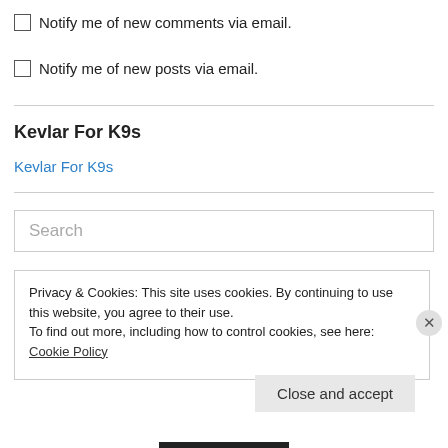Notify me of new comments via email.
Notify me of new posts via email.
Kevlar For K9s
Kevlar For K9s
Search
Privacy & Cookies: This site uses cookies. By continuing to use this website, you agree to their use.
To find out more, including how to control cookies, see here: Cookie Policy
Close and accept